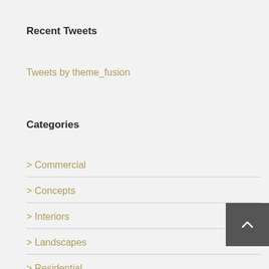Recent Tweets
Tweets by theme_fusion
Categories
> Commercial
> Concepts
> Interiors
> Landscapes
> Residential